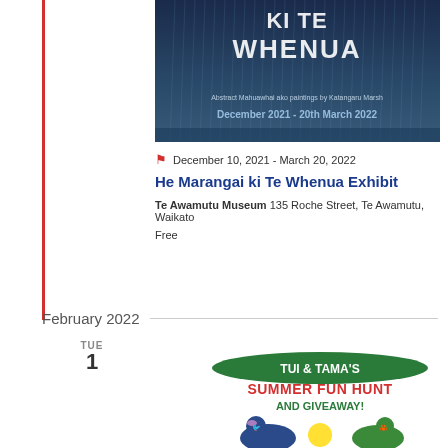[Figure (illustration): Exhibition banner for 'He Marangai ki Te Whenua', dark rainy background with text 'Abstract Mahuawhai ako paintings by Katangaru Marsh, December 2021 - 20th March 2022']
December 10, 2021 - March 20, 2022
He Marangai ki Te Whenua Exhibit
Te Awamutu Museum 135 Roche Street, Te Awamutu, Waikato
Free
February 2022
TUE 1
[Figure (illustration): Cartoon image with text 'TUI & TAMA'S SUMMER FUN HUNT AND GIVEAWAY!' featuring cartoon bird and lizard characters]